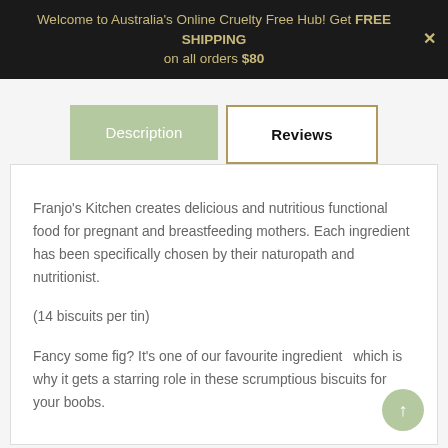Welcome to Australia's Online Cruelty Free Hub! Get FREE SHIPPING on all orders $80
Description
Reviews
Franjo's Kitchen creates delicious and nutritious functional food for pregnant and breastfeeding mothers. Each ingredient has been specifically chosen by their naturopath and nutritionist.
(14 biscuits per tin)
Fancy some fig? It's one of our favourite ingredients which is why it gets a starring role in these scrumptious biscuits for your boobs.